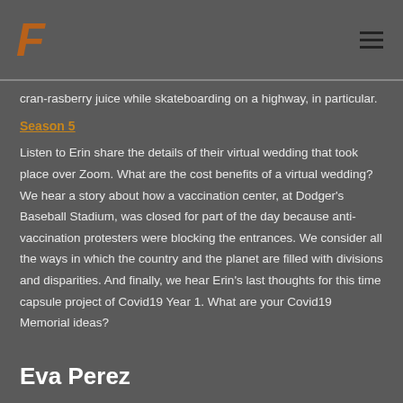F [logo] [hamburger menu]
cran-rasberry juice while skateboarding on a highway, in particular.
Season 5
Listen to Erin share the details of their virtual wedding that took place over Zoom. What are the cost benefits of a virtual wedding? We hear a story about how a vaccination center, at Dodger’s Baseball Stadium, was closed for part of the day because anti-vaccination protesters were blocking the entrances. We consider all the ways in which the country and the planet are filled with divisions and disparities. And finally, we hear Erin’s last thoughts for this time capsule project of Covid19 Year 1. What are your Covid19 Memorial ideas?
Eva Perez